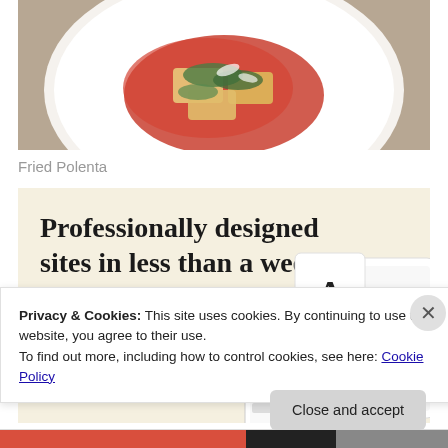[Figure (photo): A white plate with fried polenta topped with tomato sauce and herbs, viewed from above]
Fried Polenta
[Figure (infographic): Advertisement banner with cream background reading 'Professionally designed sites in less than a week' with an 'Explore options' green button and website mockup screenshots]
Privacy & Cookies: This site uses cookies. By continuing to use this website, you agree to their use.
To find out more, including how to control cookies, see here: Cookie Policy
Close and accept